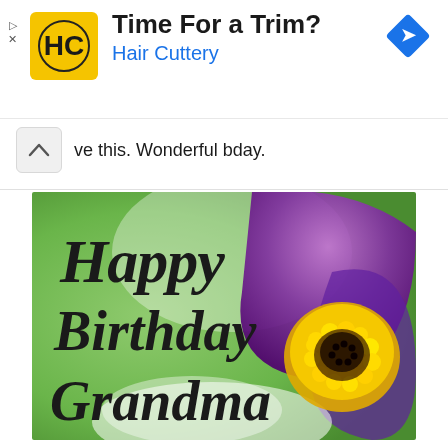[Figure (infographic): Hair Cuttery advertisement banner with yellow logo, 'Time For a Trim?' headline, 'Hair Cuttery' subtitle in blue, and a blue diamond navigation icon]
ve this. Wonderful bday.
[Figure (photo): Happy Birthday Grandma greeting card image with decorative text overlay on a close-up photo of a purple flower with yellow stamens on a green background]